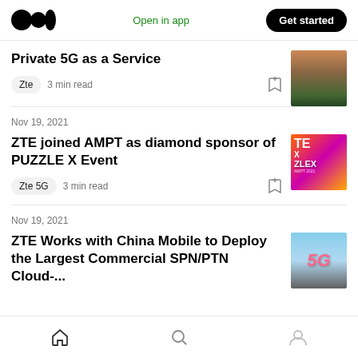Medium app header with logo, Open in app, Get started
Private 5G as a Service
Zte  3 min read
Nov 19, 2021
ZTE joined AMPT as diamond sponsor of PUZZLE X Event
Zte 5G  3 min read
Nov 19, 2021
ZTE Works with China Mobile to Deploy the Largest Commercial SPN/PTN Cloud-...